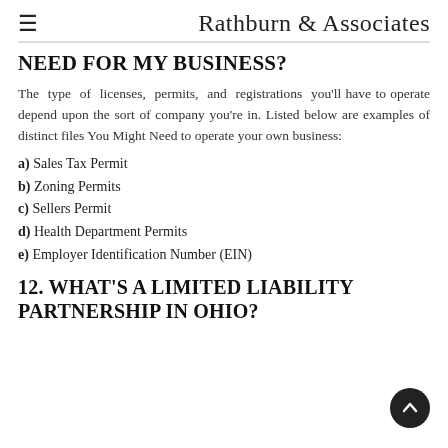≡  Rathburn & Associates
NEED FOR MY BUSINESS?
The type of licenses, permits, and registrations you'll have to operate depend upon the sort of company you're in. Listed below are examples of distinct files You Might Need to operate your own business:
a) Sales Tax Permit
b) Zoning Permits
c) Sellers Permit
d) Health Department Permits
e) Employer Identification Number (EIN)
12. WHAT'S A LIMITED LIABILITY PARTNERSHIP IN OHIO?